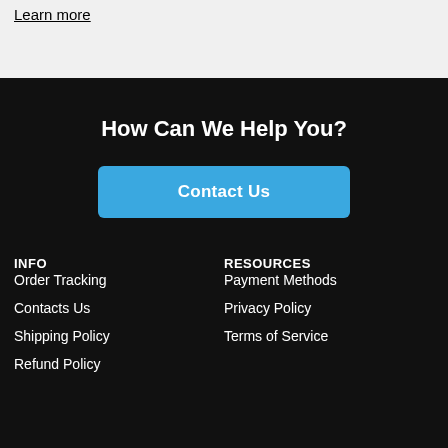Learn more
How Can We Help You?
Contact Us
INFO
Order Tracking
Contacts Us
Shipping Policy
Refund Policy
RESOURCES
Payment Methods
Privacy Policy
Terms of Service